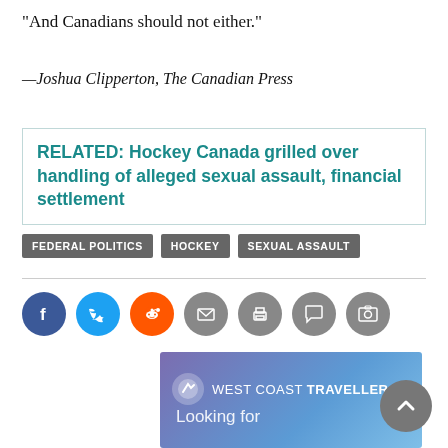“And Canadians should not either.”
—Joshua Clipperton, The Canadian Press
RELATED: Hockey Canada grilled over handling of alleged sexual assault, financial settlement
FEDERAL POLITICS
HOCKEY
SEXUAL ASSAULT
[Figure (infographic): Social sharing icons: Facebook (blue), Twitter (light blue), Reddit (orange), Email (grey), Print (grey), Comment (grey), Photo (grey)]
[Figure (infographic): West Coast Traveller advertisement banner with logo and text 'Looking for']